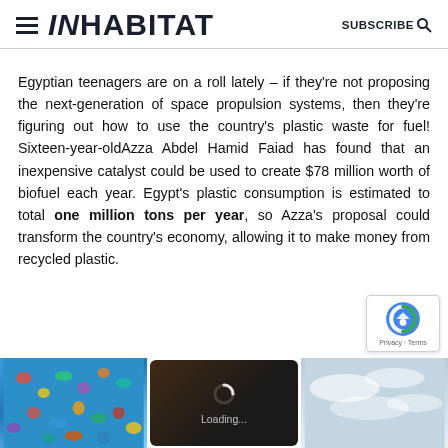INHABITAT  SUBSCRIBE
Egyptian teenagers are on a roll lately – if they're not proposing the next-generation of space propulsion systems, then they're figuring out how to use the country's plastic waste for fuel! Sixteen-year-oldAzza Abdel Hamid Faiad has found that an inexpensive catalyst could be used to create $78 million worth of biofuel each year. Egypt's plastic consumption is estimated to total one million tons per year, so Azza's proposal could transform the country's economy, allowing it to make money from recycled plastic.
[Figure (photo): Row of three thumbnail images: recycled colorful plastic pieces on blue background; a loading spinner overlay on dark background with orange tones; a cloudy sky scene.]